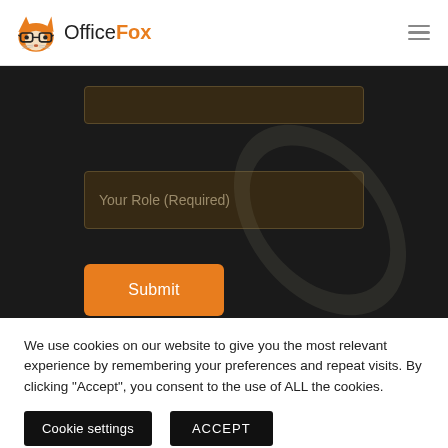[Figure (logo): OfficeFox logo with orange fox wearing glasses and text OfficeFox]
[Figure (screenshot): Dark-themed web form section with a partially visible input field, a Your Role (Required) input field, and an orange Submit button]
We use cookies on our website to give you the most relevant experience by remembering your preferences and repeat visits. By clicking “Accept”, you consent to the use of ALL the cookies.
Cookie settings
ACCEPT